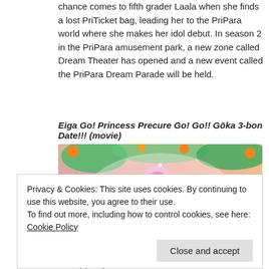chance comes to fifth grader Laala when she finds a lost PriTicket bag, leading her to the PriPara world where she makes her idol debut. In season 2 in the PriPara amusement park, a new zone called Dream Theater has opened and a new event called the PriPara Dream Parade will be held.
Eiga Go! Princess Precure Go! Go!! Gōka 3-bon Date!!! (movie)
[Figure (photo): Colorful anime movie poster for Eiga Go! Princess Precure Go! Go!! Gōka 3-bon Date!!! featuring bright characters in a fantasy scene]
Privacy & Cookies: This site uses cookies. By continuing to use this website, you agree to their use.
To find out more, including how to control cookies, see here: Cookie Policy
kidnapped princess